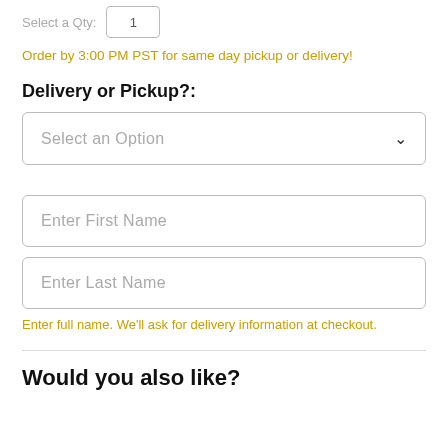Select a Qty:  [1]
Order by 3:00 PM PST for same day pickup or delivery!
Delivery or Pickup?:
Select an Option
Enter First Name
Enter Last Name
Enter full name. We'll ask for delivery information at checkout.
Would you also like?